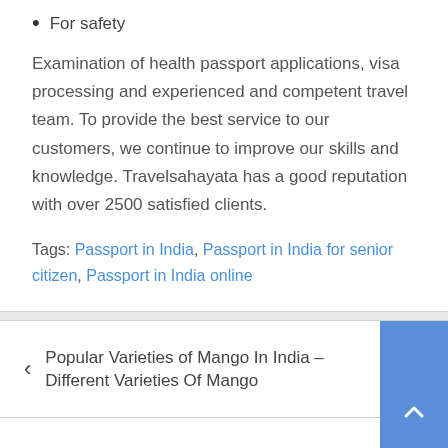For safety
Examination of health passport applications, visa processing and experienced and competent travel team. To provide the best service to our customers, we continue to improve our skills and knowledge. Travelsahayata has a good reputation with over 2500 satisfied clients.
Tags: Passport in India, Passport in India for senior citizen, Passport in India online
Popular Varieties of Mango In India – Different Varieties Of Mango
How to Import Food Products into India